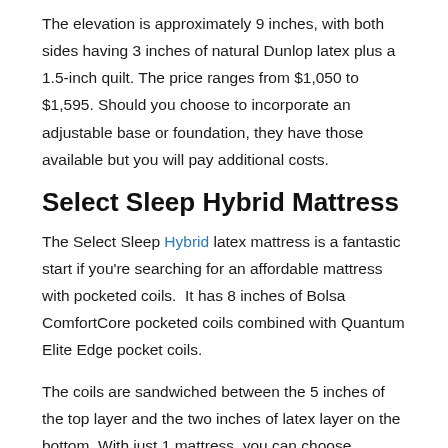The elevation is approximately 9 inches, with both sides having 3 inches of natural Dunlop latex plus a 1.5-inch quilt. The price ranges from $1,050 to $1,595. Should you choose to incorporate an adjustable base or foundation, they have those available but you will pay additional costs.
Select Sleep Hybrid Mattress
The Select Sleep Hybrid latex mattress is a fantastic start if you're searching for an affordable mattress with pocketed coils.  It has 8 inches of Bolsa ComfortCore pocketed coils combined with Quantum Elite Edge pocket coils.
The coils are sandwiched between the 5 inches of the top layer and the two inches of latex layer on the bottom. With just 1 mattress, you can choose whether you prefer to get a Light or Medium Plush simply by turning it on the opposite side.
The price starts at $1,125. For the latest mattress prices and...